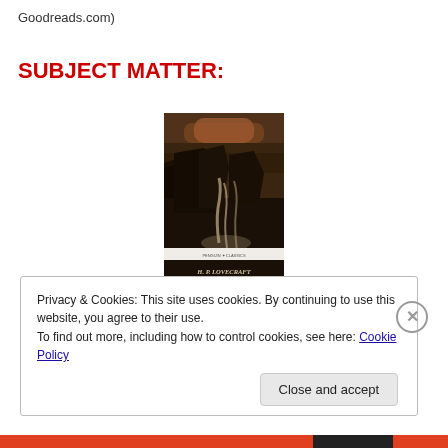Goodreads.com)
SUBJECT MATTER:
[Figure (illustration): Book cover of H.P. Lovecraft's 'The Call of Cthulhu and Other Weird Stories' Penguin Classics edition, featuring a dark atmospheric painting of rocky cliffs and cascading water.]
Privacy & Cookies: This site uses cookies. By continuing to use this website, you agree to their use.
To find out more, including how to control cookies, see here: Cookie Policy
Close and accept